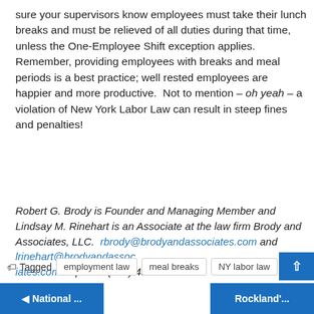sure your supervisors know employees must take their lunch breaks and must be relieved of all duties during that time, unless the One-Employee Shift exception applies.  Remember, providing employees with breaks and meal periods is a best practice; well rested employees are happier and more productive.  Not to mention – oh yeah – a violation of New York Labor Law can result in steep fines and penalties!
Robert G. Brody is Founder and Managing Member and Lindsay M. Rinehart is an Associate at the law firm Brody and Associates, LLC.  rbrody@brodyandassociates.com and lrinehart@brodyandassociates.com or phone (203) 454-0560.
Tagged  employment law  meal breaks  NY labor law
◄ National ...   Rockland'...